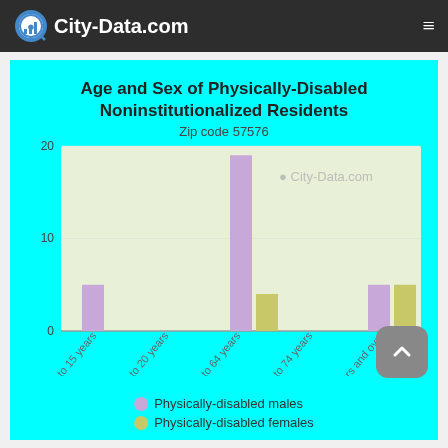City-Data.com
[Figure (grouped-bar-chart): Age and Sex of Physically-Disabled Noninstitutionalized Residents]